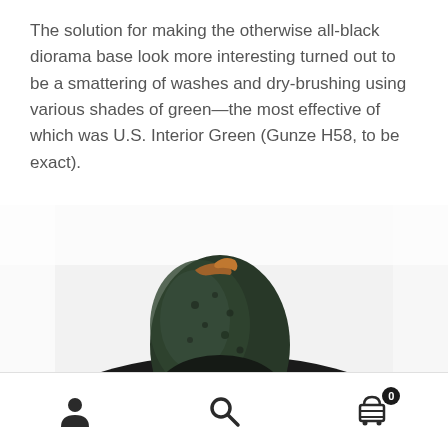The solution for making the otherwise all-black diorama base look more interesting turned out to be a smattering of washes and dry-brushing using various shades of green—the most effective of which was U.S. Interior Green (Gunze H58, to be exact).
[Figure (photo): A painted diorama base featuring a dark creature or form with tentacle-like textures, painted in shades of black and dark green. The piece sits on a white background and shows detailed dry-brushed green highlights on a black sculpted base.]
Navigation icons: user/account icon, search icon, shopping cart with badge showing 0